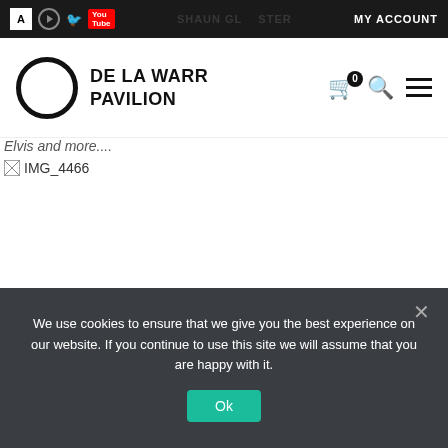CATEGORIES | social icons | SHAUN GLASTER | MY ACCOUNT
[Figure (logo): De La Warr Pavilion logo with circular ring and bold text, plus cart, search, and menu icons]
Elvis and more....
[Figure (photo): Broken image placeholder labelled IMG_4466]
We use cookies to ensure that we give you the best experience on our website. If you continue to use this site we will assume that you are happy with it.